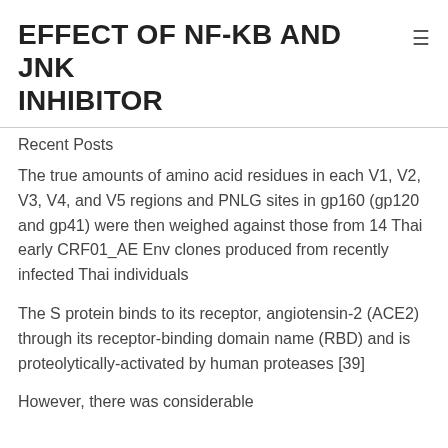EFFECT OF NF-KB AND JNK INHIBITOR
Recent Posts
The true amounts of amino acid residues in each V1, V2, V3, V4, and V5 regions and PNLG sites in gp160 (gp120 and gp41) were then weighed against those from 14 Thai early CRF01_AE Env clones produced from recently infected Thai individuals
The S protein binds to its receptor, angiotensin-2 (ACE2) through its receptor-binding domain name (RBD) and is proteolytically-activated by human proteases [39]
However, there was considerable